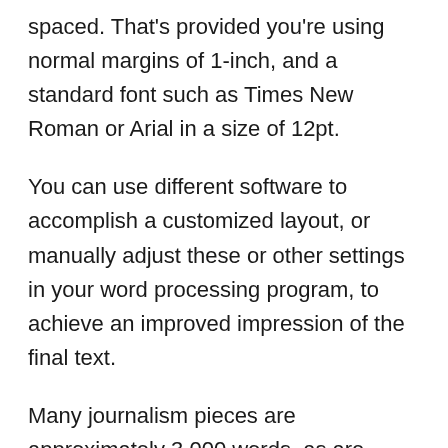spaced. That's provided you're using normal margins of 1-inch, and a standard font such as Times New Roman or Arial in a size of 12pt.
You can use different software to accomplish a customized layout, or manually adjust these or other settings in your word processing program, to achieve an improved impression of the final text.
Many journalism pieces are approximately 3,000 words, as are college essays and long-form blog posts. If you continue reading, you'll notice that an average adult is able to read 3,000 words in around 10 minutes.